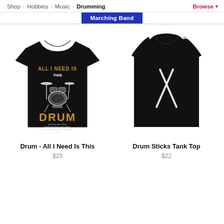Shop > Hobbies > Music > Drumming    Browse
Marching Band
[Figure (photo): Black t-shirt with drum kit graphic and text 'ALL I NEED IS THIS DRUM and that other drum, and those drums over there, and the drums in the other room, and...']
Drum - All I Need Is This
$23
[Figure (photo): Black tank top with two white drum sticks crossing diagonally on the front]
Drum Sticks Tank Top
$22